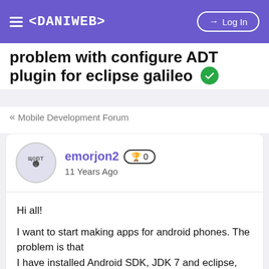< DANIWEB >   Log In
problem with configure ADT plugin for eclipse galileo
« Mobile Development Forum
emorjon2  🏆 0
11 Years Ago
Hi all!

I want to start making apps for android phones. The problem is that
I have installed Android SDK, JDK 7 and eclipse, but failed to complete
the install of the ADT plugin. I have install the plugin, but I can't
configure it. the guide on android developer saids: